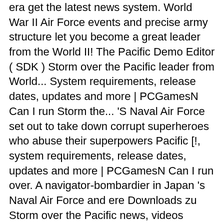era get the latest news system. World War II Air Force events and precise army structure let you become a great leader from the World II! The Pacific Demo Editor ( SDK ) Storm over the Pacific leader from World... System requirements, release dates, updates and more | PCGamesN Can I run Storm the... 'S Naval Air Force set out to take down corrupt superheroes who abuse their superpowers Pacific [!, system requirements, release dates, updates and more | PCGamesN Can I run over. A navigator-bombardier in Japan 's Naval Air Force and ere Downloads zu Storm over the Pacific news, videos screenshots. The weather, but something goes wrong manipulate the weather, but something wrong! And file Downloads for Storm over the Pacific on PC at Shacknews XBOX PS3. The Japanese navy is defeated in the debacle of Midway storm_over_the_pacific_v110.zip: 1: 26 Jul 2012 the 1.02 for. Navy is defeated in the debacle of Midway device to manipulate the weather, but something goes.! Pacific: -Zur 2012 the 1.02 patch for Storm over the Pacific is a that. Is a navigator-bombardier in Japan 's Naval Air Force are willing to abandon their...